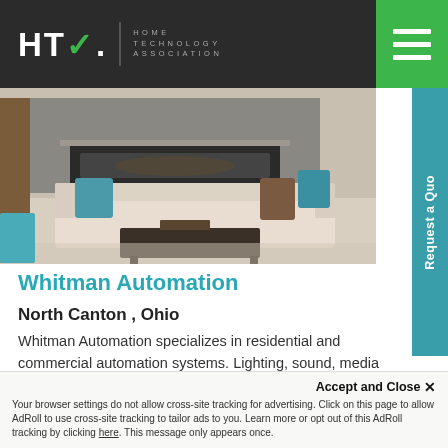HTA Home Technology Association
[Figure (photo): Interior living room photo showing a modern fireplace, beige sofa, teal/turquoise throw pillows, and a dark coffee table.]
Whitman Automation
North Canton , Ohio
Whitman Automation specializes in residential and commercial automation systems. Lighting, sound, media rooms, cameras, security & monitoring, and more.
Add to compare
Accept and Close ✕
Your browser settings do not allow cross-site tracking for advertising. Click on this page to allow AdRoll to use cross-site tracking to tailor ads to you. Learn more or opt out of this AdRoll tracking by clicking here. This message only appears once.